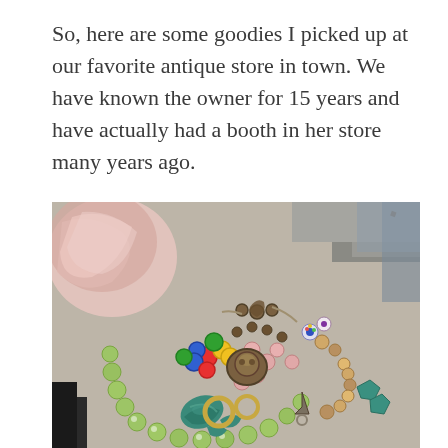So, here are some goodies I picked up at our favorite antique store in town. We have known the owner for 15 years and have actually had a booth in her store many years ago.
[Figure (photo): A collection of colorful beaded jewelry including necklaces and bracelets with green cat's eye beads, multicolored glass beads, turquoise stones, pink beads, and metal charms, arranged on a light surface.]